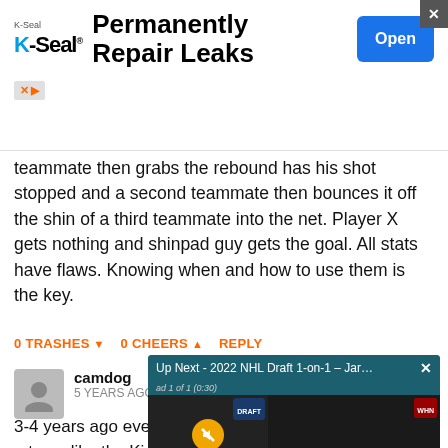[Figure (other): K-Seal advertisement banner: logo, 'Permanently Repair Leaks' text, and blue 'Open' button with close X]
teammate then grabs the rebound has his shot stopped and a second teammate then bounces it off the shin of a third teammate into the net. Player X gets nothing and shinpad guy gets the goal. All stats have flaws. Knowing when and how to use them is the key.
0 TRASHES ▼   0 CHEERS ▲   REPLY
camdog
5 YEARS AGO
3-4 years ago everyb... a team like the Kings... This season the Oile... numbers of old. As th... always mean what w...
[Figure (screenshot): Video overlay: 'Up Next - 2022 NHL Draft 1-on-1 - Jare...' with ad label 'ad 1 of 1 (0:30)', showing two panels with Davidson and Wahl, mute button, Draft logo]